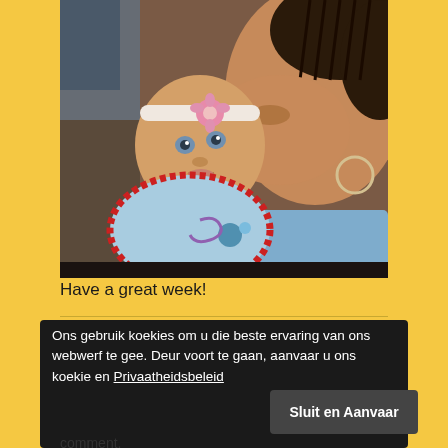[Figure (photo): A mother kissing a newborn baby on the cheek. The baby is wearing a pink headband with a flower and a light blue bib with red trim. The mother has braided hair and is wearing a hoop earring and blue top.]
Have a great week!
Ons gebruik koekies om u die beste ervaring van ons webwerf te gee. Deur voort te gaan, aanvaar u ons koekie en Privaatheidsbeleid
Sluit en Aanvaar
comment.